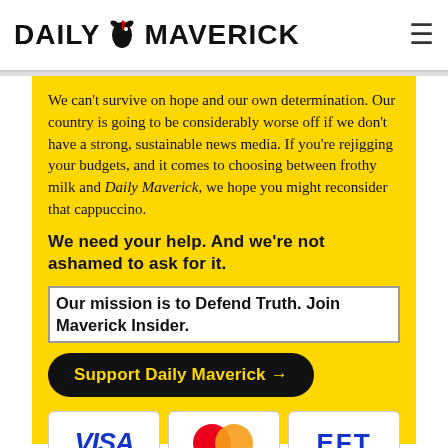DAILY MAVERICK
We can't survive on hope and our own determination. Our country is going to be considerably worse off if we don't have a strong, sustainable news media. If you're rejigging your budgets, and it comes to choosing between frothy milk and Daily Maverick, we hope you might reconsider that cappuccino.
We need your help. And we're not ashamed to ask for it.
Our mission is to Defend Truth. Join Maverick Insider.
Support Daily Maverick →
[Figure (illustration): Payment method logos: VISA, MasterCard, EFT]